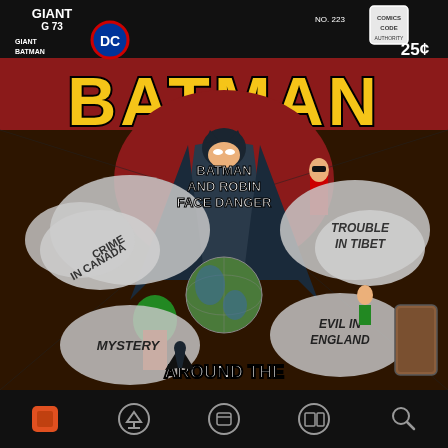[Figure (illustration): Batman Giant #223 comic book cover. Shows Batman and Robin facing various dangers around the world. Features story titles: CRIME IN CANADA, BATMAN AND ROBIN FACE DANGER, TROUBLE IN TIBET, MYSTERY, EVIL IN ENGLAND, AROUND THE WORLD. Yellow BATMAN masthead at top. DC logo, G73, No. 223, 25 cents price.]
App navigation bar with icons: home, download, archive, library, search